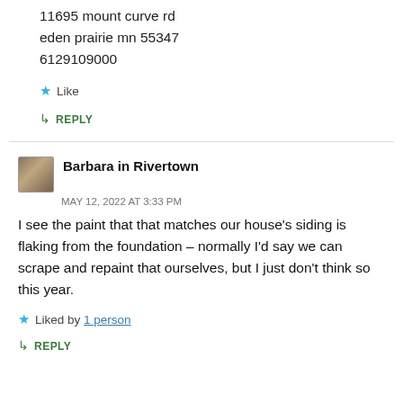11695 mount curve rd
eden prairie mn 55347
6129109000
Like
REPLY
Barbara in Rivertown
MAY 12, 2022 AT 3:33 PM
I see the paint that that matches our house’s siding is flaking from the foundation – normally I’d say we can scrape and repaint that ourselves, but I just don’t think so this year.
Liked by 1 person
REPLY